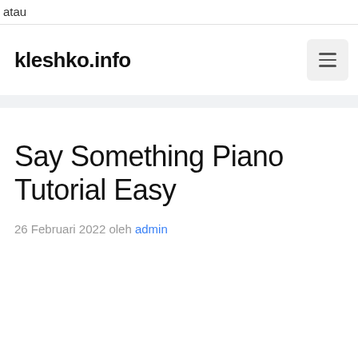atau
kleshko.info
26 Februari 2022 oleh admin
Say Something Piano Tutorial Easy
26 Februari 2022 oleh admin